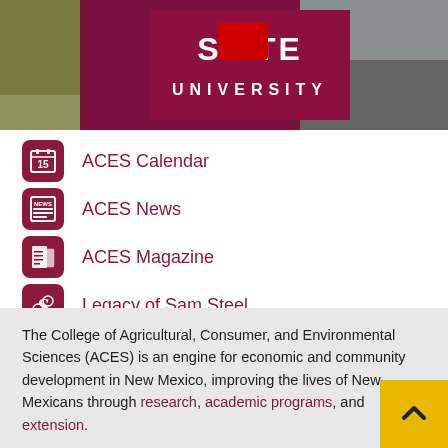[Figure (photo): Photo of New Mexico State University sign with maroon background, white text showing 'STATE UNIVERSITY', campus buildings and trees visible]
ACES Calendar
ACES News
ACES Magazine
Legacy of Sam Steel
The College of Agricultural, Consumer, and Environmental Sciences (ACES) is an engine for economic and community development in New Mexico, improving the lives of New Mexicans through research, academic programs, and extension.